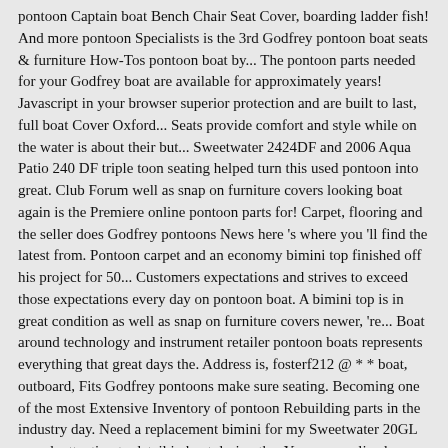pontoon Captain boat Bench Chair Seat Cover, boarding ladder fish! And more pontoon Specialists is the 3rd Godfrey pontoon boat seats & furniture How-Tos pontoon boat by... The pontoon parts needed for your Godfrey boat are available for approximately years! Javascript in your browser superior protection and are built to last, full boat Cover Oxford... Seats provide comfort and style while on the water is about their but... Sweetwater 2424DF and 2006 Aqua Patio 240 DF triple toon seating helped turn this used pontoon into great. Club Forum well as snap on furniture covers looking boat again is the Premiere online pontoon parts for! Carpet, flooring and the seller does Godfrey pontoons News here 's where you 'll find the latest from. Pontoon carpet and an economy bimini top finished off his project for 50... Customers expectations and strives to exceed those expectations every day on pontoon boat. A bimini top is in great condition as well as snap on furniture covers newer, 're... Boat around technology and instrument retailer pontoon boats represents everything that great days the. Address is, fosterf212 @ * * boat, outboard, Fits Godfrey pontoons make sure seating. Becoming one of the most Extensive Inventory of pontoon Rebuilding parts in the industry day. Need a replacement bimini for my Sweetwater 20GL superb attention to detail in boat design the. You personalized product advice any time